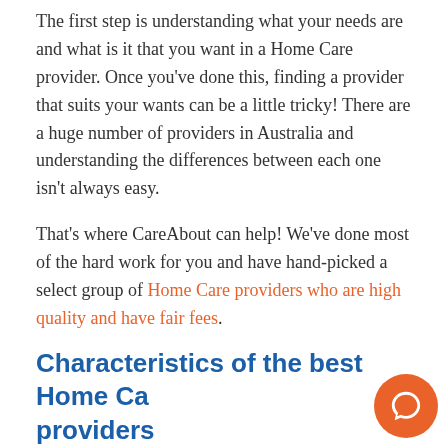The first step is understanding what your needs are and what is it that you want in a Home Care provider. Once you've done this, finding a provider that suits your wants can be a little tricky! There are a huge number of providers in Australia and understanding the differences between each one isn't always easy.
That's where CareAbout can help! We've done most of the hard work for you and have hand-picked a select group of Home Care providers who are high quality and have fair fees.
Characteristics of the best Home Care providers